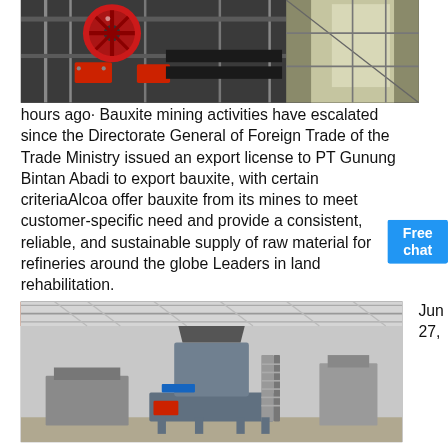[Figure (photo): Industrial mining machinery with red mechanical components and conveyor belts in a factory setting]
hours ago· Bauxite mining activities have escalated since the Directorate General of Foreign Trade of the Trade Ministry issued an export license to PT Gunung Bintan Abadi to export bauxite, with certain criteriaAlcoa offers bauxite from its mines to meet customer-specific needs and provide a consistent, reliable, and sustainable supply of raw material for refineries around the globe Leaders in land rehabilitation.
⟦service online⟧
Jun 27,
[Figure (photo): Large industrial cone crusher machine inside a factory warehouse with steel roof trusses and lighting]